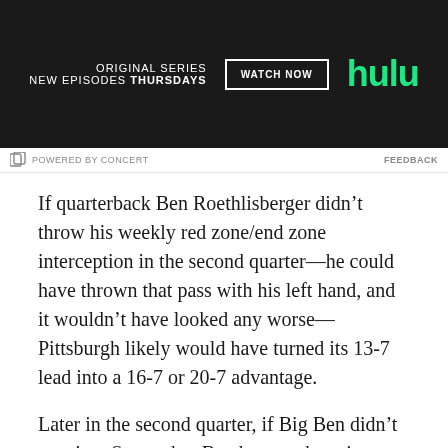[Figure (other): Hulu advertisement banner: Original Series, New Episodes Thursdays, Watch Now button, Hulu logo in green on dark background]
POWERED BY CONCERT   FEEDBACK
If quarterback Ben Roethlisberger didn’t throw his weekly red zone/end zone interception in the second quarter—he could have thrown that pass with his left hand, and it wouldn’t have looked any worse—Pittsburgh likely would have turned its 13-7 lead into a 16-7 or 20-7 advantage.
Later in the second quarter, if Big Ben didn’t turn into September Ben by overthrowing a wide-open Justin Hunter on a play that should have gone for a 34-yard touchdown, the Steelers would have turned their 13-7 lead into a 20-7 lead. And the lead would have quickly grown to a 27-7 halftime advantage following...